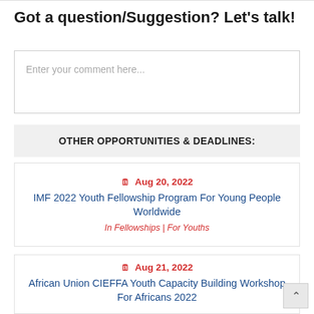Got a question/Suggestion? Let's talk!
Enter your comment here...
OTHER OPPORTUNITIES & DEADLINES:
🗓 Aug 20, 2022
IMF 2022 Youth Fellowship Program For Young People Worldwide
In Fellowships | For Youths
🗓 Aug 21, 2022
African Union CIEFFA Youth Capacity Building Workshop For Africans 2022